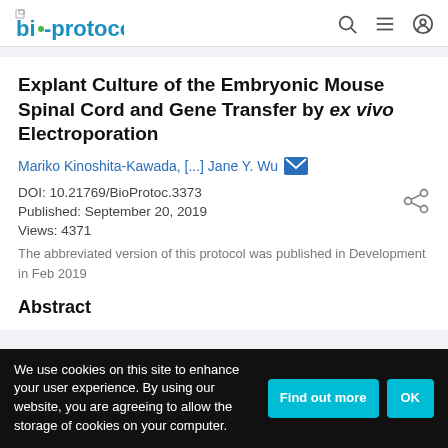bio-protocol
Explant Culture of the Embryonic Mouse Spinal Cord and Gene Transfer by ex vivo Electroporation
Mariko Kinoshita-Kawada, [...] Jane Y. Wu
DOI: 10.21769/BioProtoc.3373
Published: September 20, 2019
Views: 4371
The abbreviated version of this protocol was published in Development in Feb 2019
Abstract
We use cookies on this site to enhance your user experience. By using our website, you are agreeing to allow the storage of cookies on your computer.